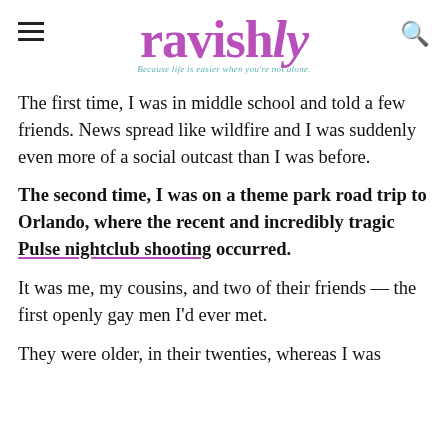ravishly — Because life is easier when you're not alone.
The first time, I was in middle school and told a few friends. News spread like wildfire and I was suddenly even more of a social outcast than I was before.
The second time, I was on a theme park road trip to Orlando, where the recent and incredibly tragic Pulse nightclub shooting occurred.
It was me, my cousins, and two of their friends — the first openly gay men I'd ever met.
They were older, in their twenties, whereas I was